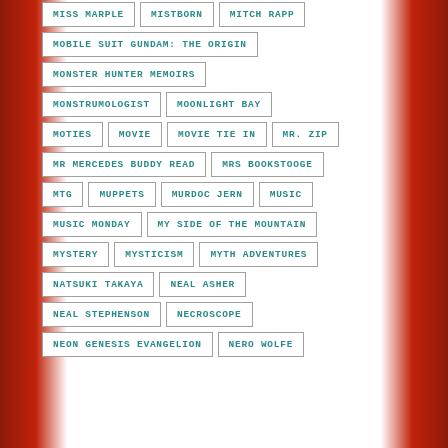MISS MARPLE
MISTBORN
MITCH RAPP
MOBILE SUIT GUNDAM: THE ORIGIN
MONSTER HUNTER MEMOIRS
MONSTRUMOLOGIST
MOONLIGHT BAY
MOTIES
MOVIE
MOVIE TIE IN
MR. ZIP
MR MERCEDES BUDDY READ
MRS BOOKSTOOGE
MTG
MUPPETS
MURDOC JERN
MUSIC
MUSIC MONDAY
MY SIDE OF THE MOUNTAIN
MYSTERY
MYSTICISM
MYTH ADVENTURES
NATSUKI TAKAYA
NEAL ASHER
NEAL STEPHENSON
NECROSCOPE
NEON GENESIS EVANGELION
NERO WOLFE